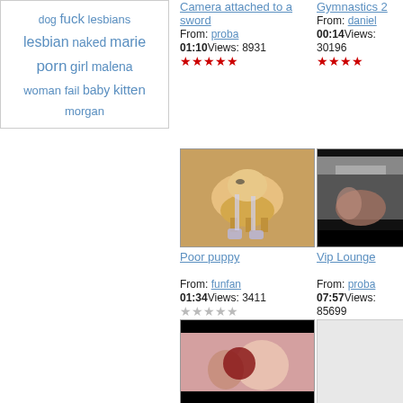dog fuck lesbians lesbian naked marie porn girl malena woman fail baby kitten morgan
Camera attached to a sword
From: proba
01:10 Views: 8931
★★★★★
Gymnastics 2
From: daniel
00:14 Views: 30196
★★★★
[Figure (photo): Dog/puppy photo thumbnail]
Poor puppy
From: funfan
01:34 Views: 3411
☆☆☆☆☆
[Figure (photo): Video thumbnail - bedroom scene]
Vip Lounge
From: proba
07:57 Views: 85699
★★★★
[Figure (photo): Adult content thumbnail]
Gigi & Hayden
From: proba
10:30 Views: 103534
[Figure (photo): Blank/loading thumbnail]
Casie masturbates on Trans A...
From: smbreng
00:26 Views: 37102